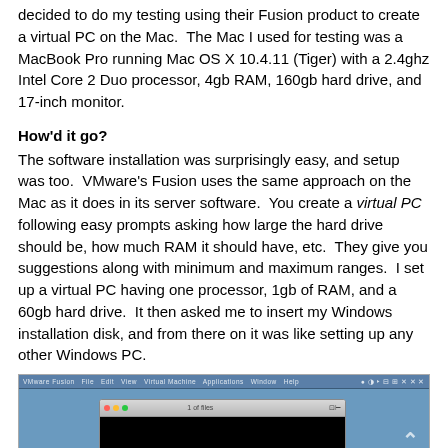decided to do my testing using their Fusion product to create a virtual PC on the Mac. The Mac I used for testing was a MacBook Pro running Mac OS X 10.4.11 (Tiger) with a 2.4ghz Intel Core 2 Duo processor, 4gb RAM, 160gb hard drive, and 17-inch monitor.
How'd it go?
The software installation was surprisingly easy, and setup was too. VMware's Fusion uses the same approach on the Mac as it does in its server software. You create a virtual PC following easy prompts asking how large the hard drive should be, how much RAM it should have, etc. They give you suggestions along with minimum and maximum ranges. I set up a virtual PC having one processor, 1gb of RAM, and a 60gb hard drive. It then asked me to insert my Windows installation disk, and from there on it was like setting up any other Windows PC.
[Figure (screenshot): Screenshot of VMware Fusion application on Mac OS X showing a virtual PC window with a black screen (booting), displayed on a blue desktop background.]